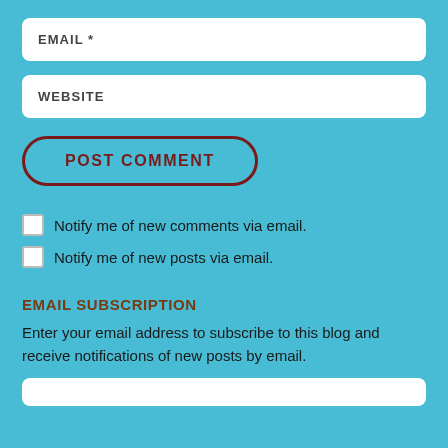EMAIL *
WEBSITE
POST COMMENT
Notify me of new comments via email.
Notify me of new posts via email.
EMAIL SUBSCRIPTION
Enter your email address to subscribe to this blog and receive notifications of new posts by email.